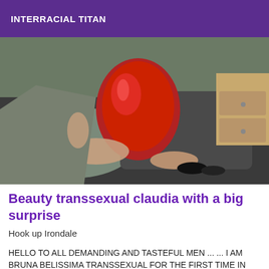INTERRACIAL TITAN
[Figure (photo): A person wearing a red outfit posed on a bed with dark bedding and pillows, with a nightstand visible in the background.]
Beauty transsexual claudia with a big surprise
Hook up Irondale
HELLO TO ALL DEMANDING AND TASTEFUL MEN ... ... I AM BRUNA BELISSIMA TRANSSEXUAL FOR THE FIRST TIME IN THE UNITED STATES. OBS : MY